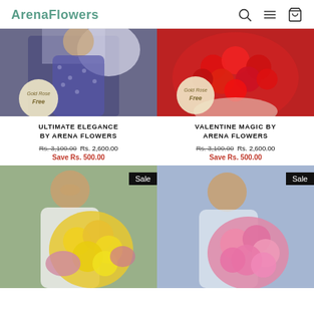ArenaFlowers
[Figure (photo): Product photo for Ultimate Elegance by Arena Flowers, showing a woman in a blue floral dress holding a white feathered item, with a Gold Rose Free badge on the image]
ULTIMATE ELEGANCE BY ARENA FLOWERS
Rs. 3,100.00 Rs. 2,600.00
Save Rs. 500.00
[Figure (photo): Product photo for Valentine Magic by Arena Flowers, showing a bouquet of red roses with a Gold Rose Free badge]
VALENTINE MAGIC BY ARENA FLOWERS
Rs. 3,100.00 Rs. 2,600.00
Save Rs. 500.00
[Figure (photo): Sale product photo showing a woman holding a large yellow and pink flower bouquet, with a Sale badge]
[Figure (photo): Sale product photo showing a woman holding a large pink flower bouquet, with a Sale badge]